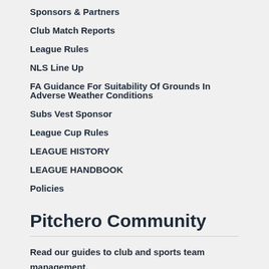Sponsors & Partners
Club Match Reports
League Rules
NLS Line Up
FA Guidance For Suitability Of Grounds In Adverse Weather Conditions
Subs Vest Sponsor
League Cup Rules
LEAGUE HISTORY
LEAGUE HANDBOOK
Policies
Pitchero Community
Read our guides to club and sports team management.
Start your free 30-day Club Website trial.
Visit the Pitchero Blog.